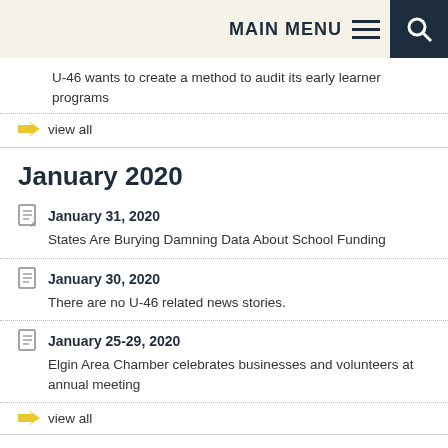MAIN MENU
U-46 wants to create a method to audit its early learner programs
view all
January 2020
January 31, 2020 — States Are Burying Damning Data About School Funding
January 30, 2020 — There are no U-46 related news stories.
January 25-29, 2020 — Elgin Area Chamber celebrates businesses and volunteers at annual meeting
view all
December 2019